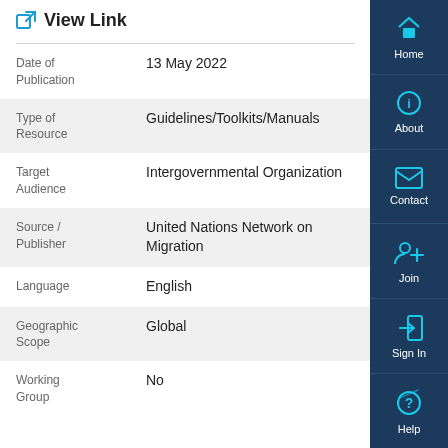View Link
| Field | Value |
| --- | --- |
| Date of Publication | 13 May 2022 |
| Type of Resource | Guidelines/Toolkits/Manuals |
| Target Audience | Intergovernmental Organization |
| Source / Publisher | United Nations Network on Migration |
| Language | English |
| Geographic Scope | Global |
| Working Group | No |